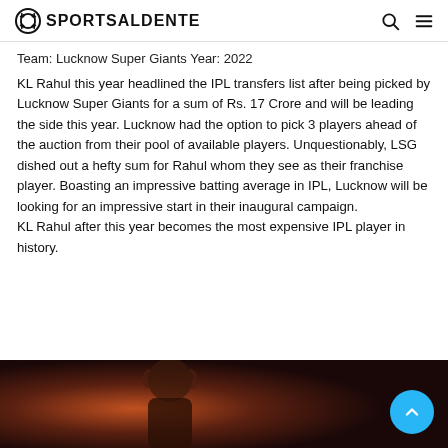SPORTSALDENTE
Team: Lucknow Super Giants Year: 2022
KL Rahul this year headlined the IPL transfers list after being picked by Lucknow Super Giants for a sum of Rs. 17 Crore and will be leading the side this year. Lucknow had the option to pick 3 players ahead of the auction from their pool of available players. Unquestionably, LSG dished out a hefty sum for Rahul whom they see as their franchise player. Boasting an impressive batting average in IPL, Lucknow will be looking for an impressive start in their inaugural campaign.
KL Rahul after this year becomes the most expensive IPL player in history.
[Figure (photo): Photo of KL Rahul with hands on head, dark background with red/orange lighting]